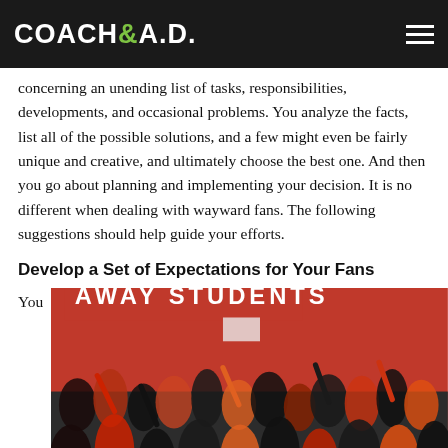COACH&A.D.
concerning an unending list of tasks, responsibilities, developments, and occasional problems. You analyze the facts, list all of the possible solutions, and a few might even be fairly unique and creative, and ultimately choose the best one. And then you go about planning and implementing your decision. It is no different when dealing with wayward fans. The following suggestions should help guide your efforts.
Develop a Set of Expectations for Your Fans
You
[Figure (photo): Crowd of fans in a gymnasium with red wall, 'AWAY STUDENTS' sign, students cheering wearing red, black, and orange colors.]